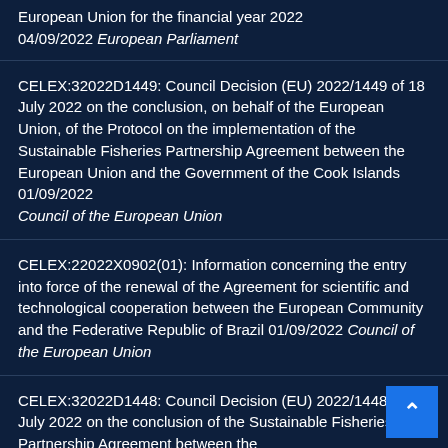European Union for the financial year 2022 04/09/2022 European Parliament
CELEX:32022D1449: Council Decision (EU) 2022/1449 of 18 July 2022 on the conclusion, on behalf of the European Union, of the Protocol on the implementation of the Sustainable Fisheries Partnership Agreement between the European Union and the Government of the Cook Islands 01/09/2022 Council of the European Union
CELEX:22022X0902(01): Information concerning the entry into force of the renewal of the Agreement for scientific and technological cooperation between the European Community and the Federative Republic of Brazil 01/09/2022 Council of the European Union
CELEX:32022D1448: Council Decision (EU) 2022/1448 of 18 July 2022 on the conclusion of the Sustainable Fisheries Partnership Agreement between the